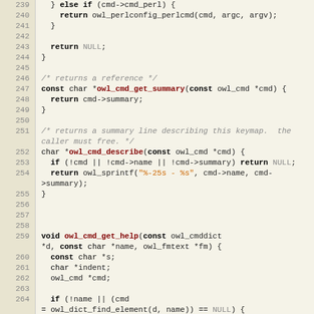[Figure (screenshot): Source code listing in C, lines 239-267, showing functions owl_cmd_get_summary, owl_cmd_describe, and owl_cmd_get_help, with syntax highlighting on a tan/beige background.]